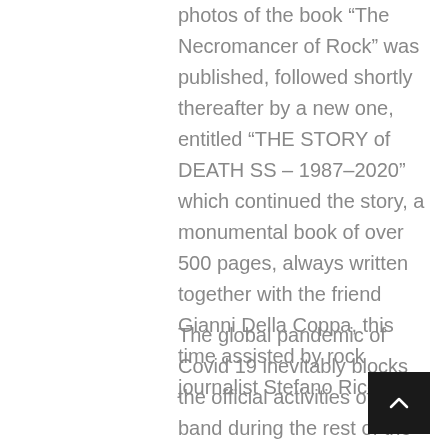photos of the book “The Necromancer of Rock” was published, followed shortly thereafter by a new one, entitled “THE STORY of DEATH SS – 1987–2020” which continued the story, a monumental book of over 500 pages, always written together with the friend Gianni Della Coppa, this time assisted by rock journalist Stefano Ricetti.
The global pandemic of Covid 19 inevitably blocks the official activities of the band during the rest of the year, so the band take the opportunity to compose the new songs that will be part of the new album, the tenth of their official discography, which will presumably